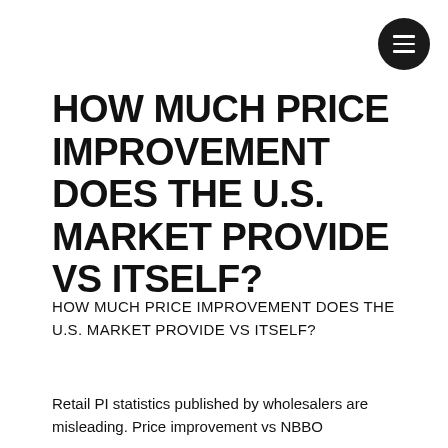[Figure (other): Circular dark menu/hamburger button icon in top-right corner]
HOW MUCH PRICE IMPROVEMENT DOES THE U.S. MARKET PROVIDE VS ITSELF?
HOW MUCH PRICE IMPROVEMENT DOES THE U.S. MARKET PROVIDE VS ITSELF?
Retail PI statistics published by wholesalers are misleading. Price improvement vs NBBO